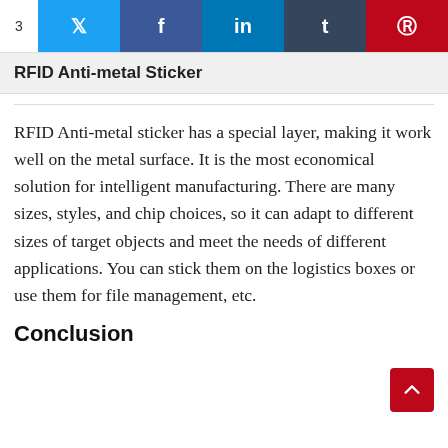3
RFID Anti-metal Sticker
RFID Anti-metal sticker has a special layer, making it work well on the metal surface. It is the most economical solution for intelligent manufacturing. There are many sizes, styles, and chip choices, so it can adapt to different sizes of target objects and meet the needs of different applications. You can stick them on the logistics boxes or use them for file management, etc.
Conclusion